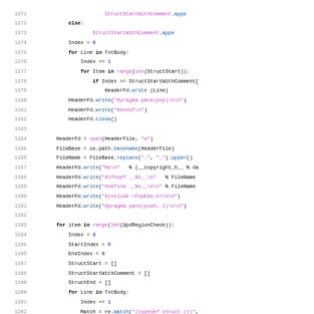Source code listing, lines 1171-1203, Python script for header file generation